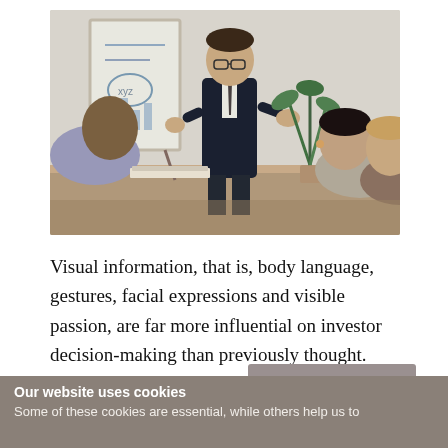[Figure (photo): Business meeting scene: a man in a suit standing and presenting at a whiteboard to colleagues seated around a table, with a plant and coffee cup visible]
Visual information, that is, body language, gestures, facial expressions and visible passion, are far more influential on investor decision-making than previously thought.
Cookie settings
Our website uses cookies
Some of these cookies are essential, while others help us to